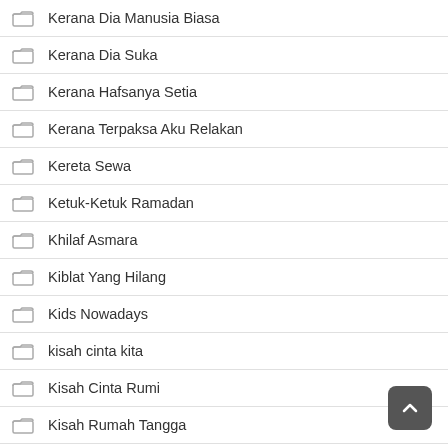Kerana Dia Manusia Biasa
Kerana Dia Suka
Kerana Hafsanya Setia
Kerana Terpaksa Aku Relakan
Kereta Sewa
Ketuk-Ketuk Ramadan
Khilaf Asmara
Kiblat Yang Hilang
Kids Nowadays
kisah cinta kita
Kisah Cinta Rumi
Kisah Rumah Tangga
Kisah Tok Kadi
KL Gangster Underworld Musim 2
Korban Kasih